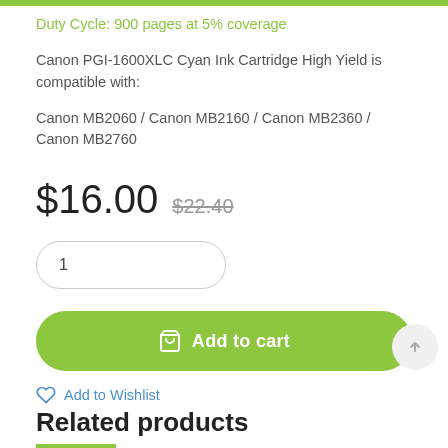Duty Cycle: 900 pages at 5% coverage
Canon PGI-1600XLC Cyan Ink Cartridge High Yield is compatible with:
Canon MB2060 / Canon MB2160 / Canon MB2360 / Canon MB2760
$16.00  $22.40
1
Add to cart
Add to Wishlist
Related products